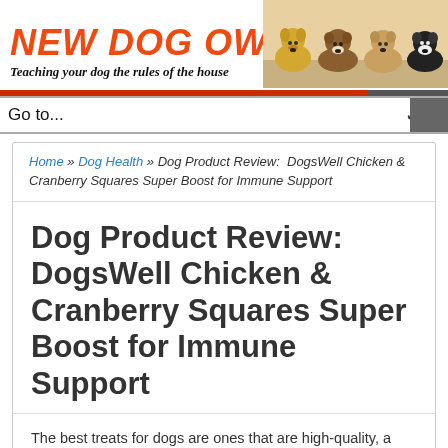[Figure (logo): New Dog Owners website logo with orange italic bold text 'NEW DOG OWNERS' and tagline 'Teaching your dog the rules of the house', with puppies photo on the right]
Go to...
Home » Dog Health » Dog Product Review:  DogsWell Chicken & Cranberry Squares Super Boost for Immune Support
Dog Product Review: DogsWell Chicken & Cranberry Squares Super Boost for Immune Support
The best treats for dogs are ones that are high-quality, a